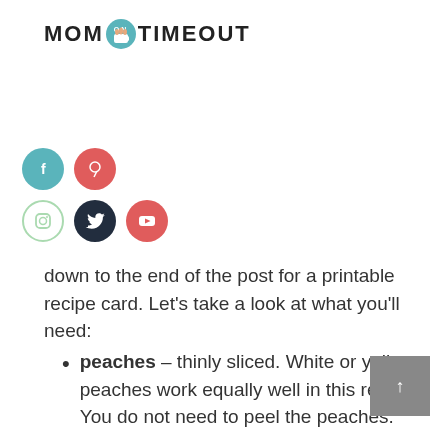MOM ON TIMEOUT
[Figure (infographic): Social media icons: Facebook (teal), Pinterest (red), Instagram (light green outline), Twitter (dark navy), YouTube (red)]
down to the end of the post for a printable recipe card. Let's take a look at what you'll need:
peaches – thinly sliced. White or yellow peaches work equally well in this recipe. You do not need to peel the peaches.